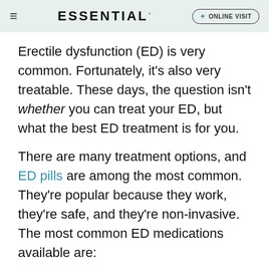ESSENTIAL | ONLINE VISIT
Erectile dysfunction (ED) is very common. Fortunately, it's also very treatable. These days, the question isn't whether you can treat your ED, but what the best ED treatment is for you.
There are many treatment options, and ED pills are among the most common. They're popular because they work, they're safe, and they're non-invasive. The most common ED medications available are:
Sildenafil (generic Viagra)
As-needed tadalafil (Cialis)